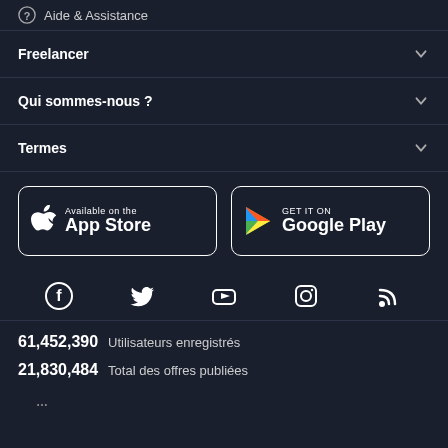Aide & Assistance
Freelancer
Qui sommes-nous ?
Termes
[Figure (screenshot): Two app store badges: 'Available on the App Store' (Apple) and 'GET IT ON Google Play' (Android)]
[Figure (infographic): Social media icons row: Facebook, Twitter, YouTube, Instagram, RSS]
61,452,390  Utilisateurs enregistrés
21,830,484  Total des offres publiées